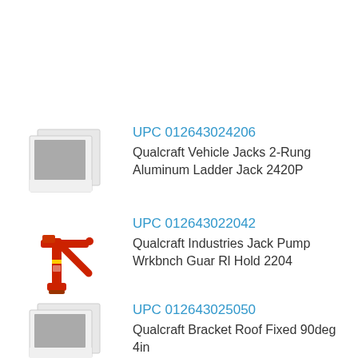[Figure (photo): Placeholder image icon for product 1 (two overlapping polaroid-style image placeholders with gray square)]
UPC 012643024206
Qualcraft Vehicle Jacks 2-Rung Aluminum Ladder Jack 2420P
[Figure (photo): Red metal jack pump / workbench guard product photo]
UPC 012643022042
Qualcraft Industries Jack Pump Wrkbnch Guar Rl Hold 2204
[Figure (photo): Placeholder image icon for product 3 (two overlapping polaroid-style image placeholders with gray square)]
UPC 012643025050
Qualcraft Bracket Roof Fixed 90deg 4in